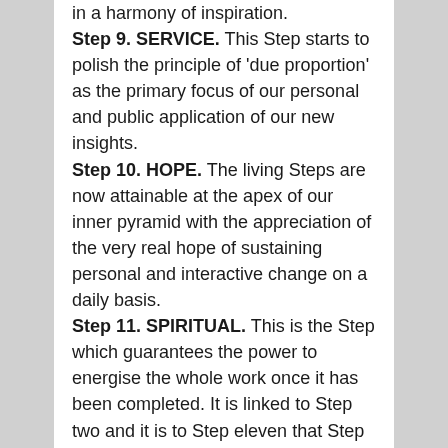in a harmony of inspiration. Step 9. SERVICE. This Step starts to polish the principle of 'due proportion' as the primary focus of our personal and public application of our new insights. Step 10. HOPE. The living Steps are now attainable at the apex of our inner pyramid with the appreciation of the very real hope of sustaining personal and interactive change on a daily basis. Step 11. SPIRITUAL. This is the Step which guarantees the power to energise the whole work once it has been completed. It is linked to Step two and it is to Step eleven that Step two looked in the depth of its affirmation to try to progress through uncertainty. It is the Step of real achievement and the realisation of a return to purpose, dignity and inner